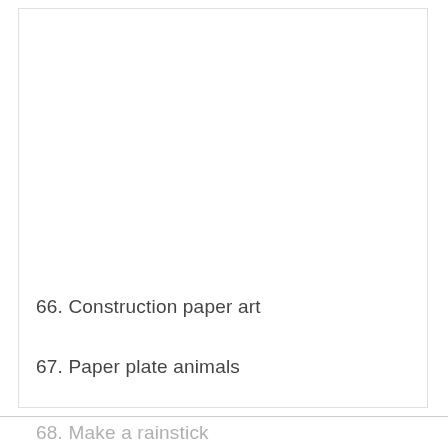66. Construction paper art
67. Paper plate animals
68. Make a rainstick